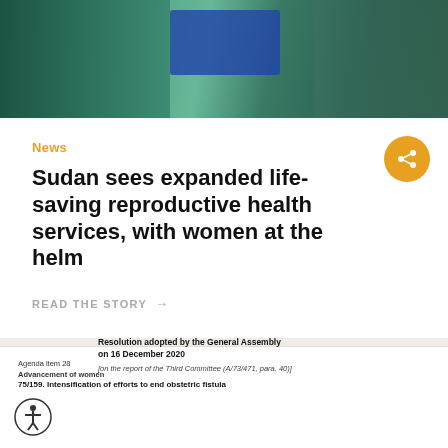[Figure (photo): Photo of women in teal/green clothing handling blue boxes, likely medical supplies, in Sudan]
News
Sudan sees expanded life-saving reproductive health services, with women at the helm
READ THE STORY →
Agenda item 28
Advancement of women
Resolution adopted by the General Assembly on 16 December 2020
[on the report of the Third Committee (A/73/471, para. 40)]
75/159. Intensification of efforts to end obstetric fistula